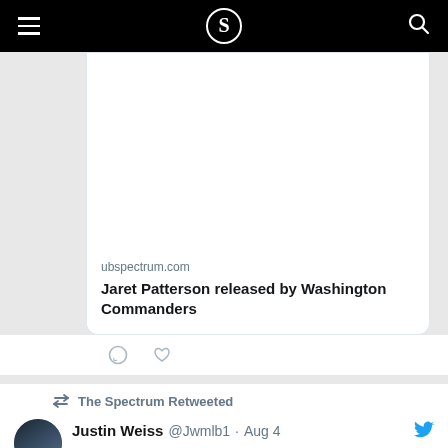The Spectrum (ubspectrum.com) — navigation bar with hamburger menu and search
[Figure (screenshot): Image area (blank/cropped) above link preview card for article about Jaret Patterson]
ubspectrum.com
Jaret Patterson released by Washington Commanders
The Spectrum Retweeted
Justin Weiss @Jwmlb1 · Aug 4
Nothing makes me happier than seeing @UBSpectrum in great hands. Congrats on